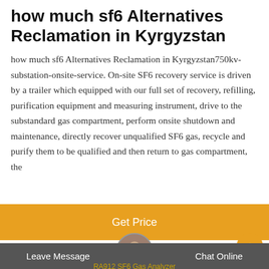how much sf6 Alternatives Reclamation in Kyrgyzstan
how much sf6 Alternatives Reclamation in Kyrgyzstan750kv-substation-onsite-service. On-site SF6 recovery service is driven by a trailer which equipped with our full set of recovery, refilling, purification equipment and measuring instrument, drive to the substandard gas compartment, perform onsite shutdown and maintenance, directly recover unqualified SF6 gas, recycle and purify them to be qualified and then return to gas compartment, the
[Figure (other): Orange 'Get Price' button]
Hot Product
[Figure (photo): Customer service representative avatar photo]
Leave Message   Chat Online
RA912 SF6 Gas Analyzer